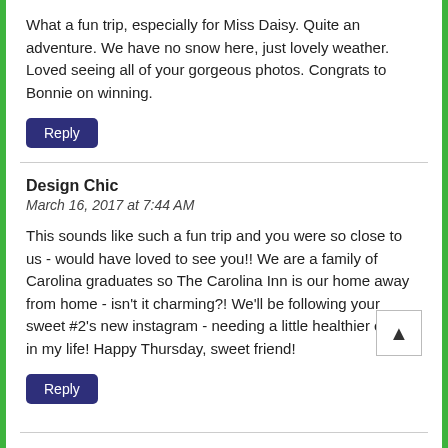What a fun trip, especially for Miss Daisy. Quite an adventure. We have no snow here, just lovely weather. Loved seeing all of your gorgeous photos. Congrats to Bonnie on winning.
Reply
Design Chic
March 16, 2017 at 7:44 AM
This sounds like such a fun trip and you were so close to us - would have loved to see you!! We are a family of Carolina graduates so The Carolina Inn is our home away from home - isn't it charming?! We'll be following your sweet #2's new instagram - needing a little healthier eating in my life! Happy Thursday, sweet friend!
Reply